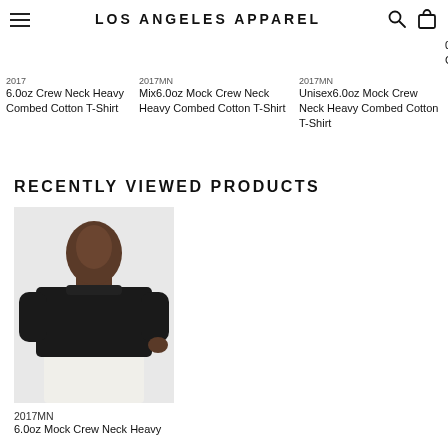LOS ANGELES APPAREL
2017
6.0oz Crew Neck Heavy Combed Cotton T-Shirt
2017MN
Mix6.0oz Mock Crew Neck Heavy Combed Cotton T-Shirt
2017MN
Unisex6.0oz Mock Crew Neck Heavy Combed Cotton T-Shirt
RECENTLY VIEWED PRODUCTS
[Figure (photo): Man wearing a black mock crew neck t-shirt with white pants, against a white background]
2017MN
6.0oz Mock Crew Neck Heavy